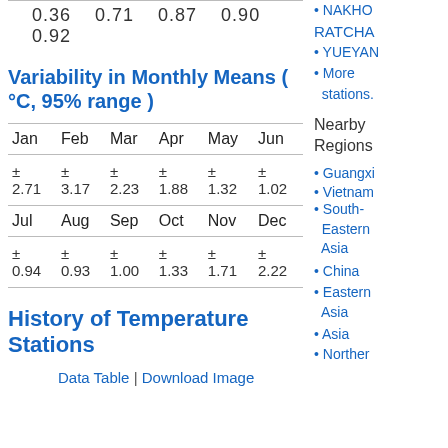0.36   0.71   0.87   0.90   0.92
NAKHO
RATCHA
YUEYAN
More stations.
Variability in Monthly Means ( °C, 95% range )
| Jan | Feb | Mar | Apr | May | Jun |
| --- | --- | --- | --- | --- | --- |
| ± 2.71 | ± 3.17 | ± 2.23 | ± 1.88 | ± 1.32 | ± 1.02 |
History of Temperature Stations
Data Table | Download Image
Nearby Regions
Guangxi
Vietnam
South-Eastern Asia
China
Eastern Asia
Asia
Northern